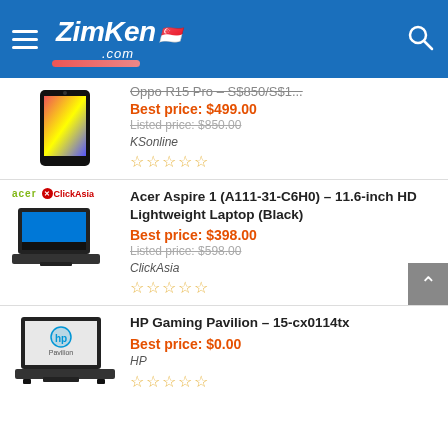ZimKen.com
Best price: $499.00
Listed price: $850.00
KSonline
☆☆☆☆☆
Acer Aspire 1 (A111-31-C6H0) – 11.6-inch HD Lightweight Laptop (Black)
Best price: $398.00
Listed price: $598.00
ClickAsia
☆☆☆☆☆
HP Gaming Pavilion – 15-cx0114tx
Best price: $0.00
HP
☆☆☆☆☆